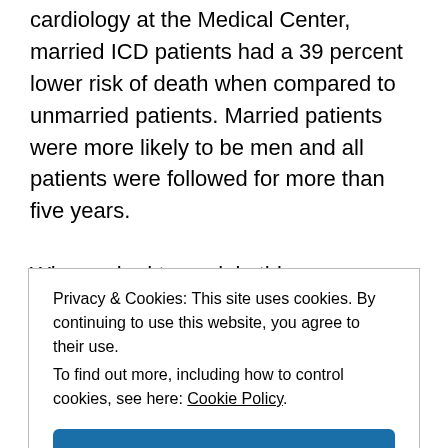cardiology at the Medical Center, married ICD patients had a 39 percent lower risk of death when compared to unmarried patients. Married patients were more likely to be men and all patients were followed for more than five years.
When asked to explain this phenomenon, Wojciech Zareba, director of the Heart Research Follow-up Program and an international expert on the research
Privacy & Cookies: This site uses cookies. By continuing to use this website, you agree to their use.
To find out more, including how to control cookies, see here: Cookie Policy
Close and accept